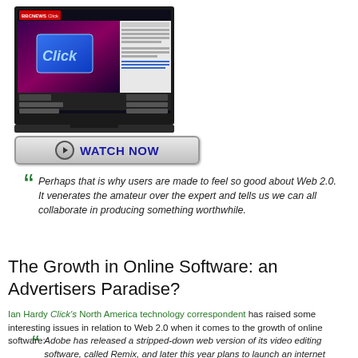[Figure (screenshot): Screenshot of a video player showing 'Click' BBC News program with a glowing blue credit card image and a sidebar with text/links]
[Figure (other): WATCH NOW button with play icon, grey gradient, dark blue bold text]
Perhaps that is why users are made to feel so good about Web 2.0. It venerates the amateur over the expert and tells us we can all collaborate in producing something worthwhile.
The Growth in Online Software: an Advertisers Paradise?
Ian Hardy Click's North America technology correspondent has raised some interesting issues in relation to Web 2.0 when it comes to the growth of online software:
Adobe has released a stripped-down web version of its video editing software, called Remix, and later this year plans to launch an internet version